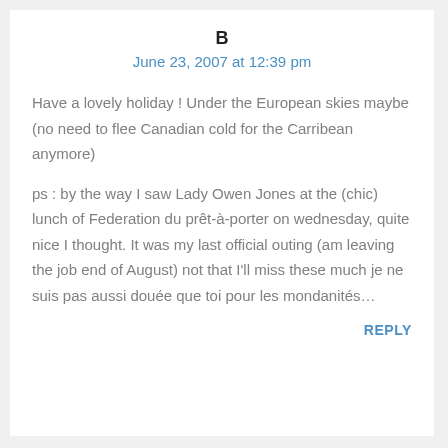B
June 23, 2007 at 12:39 pm
Have a lovely holiday ! Under the European skies maybe (no need to flee Canadian cold for the Carribean anymore)
ps : by the way I saw Lady Owen Jones at the (chic) lunch of Federation du prêt-à-porter on wednesday, quite nice I thought. It was my last official outing (am leaving the job end of August) not that I'll miss these much je ne suis pas aussi douée que toi pour les mondanités…
REPLY